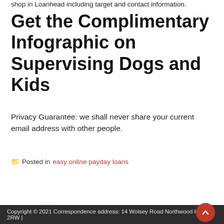shop in Loanhead including target and contact information.
Get the Complimentary Infographic on Supervising Dogs and Kids
Privacy Guarantee: we shall never share your current email address with other people.
Posted in easy online payday loans
| ◄ The Greatest Snapsext Review For 2020.
Nonetheless, the connection web site does not have cellular energy for products working according to iOS and Android os. | Jedoch bisserl scheint Nichtens wirklich so vollumfänglich zugeknallt dem hippen Berliner Szene-Startup ins Bockshorn jagen lassen drauf intendieren ► |
Copyright © 2021 Correspondence address: 14 Wolsey Road Northwood HA6 2RW |